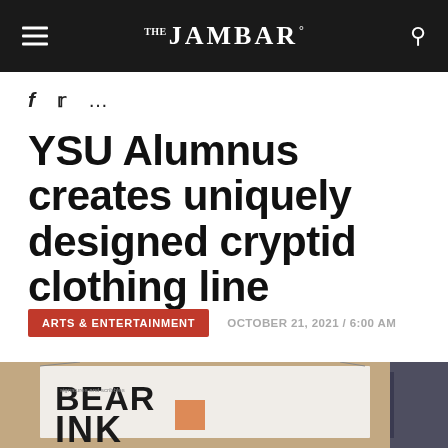THE JAMBAR
f  …
YSU Alumnus creates uniquely designed cryptid clothing line
ARTS & ENTERTAINMENT   OCTOBER 21, 2021 / 6:00 AM
[Figure (photo): A banner/sign reading BEAR INK with graffiti-style lettering on a wall]